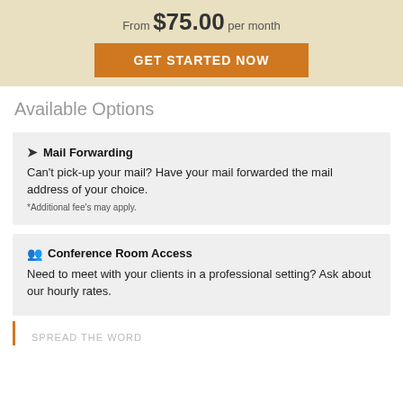From $75.00 per month
GET STARTED NOW
Available Options
Mail Forwarding
Can't pick-up your mail? Have your mail forwarded the mail address of your choice.
*Additional fee's may apply.
Conference Room Access
Need to meet with your clients in a professional setting? Ask about our hourly rates.
SPREAD THE WORD